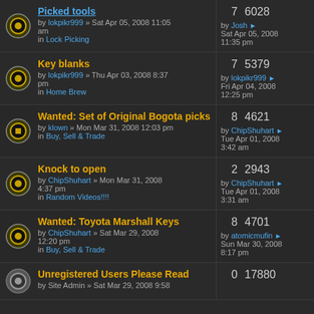Picked tools by lokpikr999, Sat Apr 05, 2008 11:05 am, in Lock Picking. 7 replies, 6028 views. Last by Josh, Sat Apr 05, 2008 11:35 pm
Key blanks by lokpikr999, Thu Apr 03, 2008 8:37 pm, in Home Brew. 7 replies, 5379 views. Last by lokpikr999, Fri Apr 04, 2008 12:25 pm
Wanted: Set of Original Bogota picks by klown, Mon Mar 31, 2008 12:03 pm, in Buy, Sell & Trade. 8 replies, 4621 views. Last by ChipShuhart, Tue Apr 01, 2008 3:42 am
Knock to open by ChipShuhart, Mon Mar 31, 2008 4:37 pm, in Random Videos!!!!. 2 replies, 2943 views. Last by ChipShuhart, Tue Apr 01, 2008 3:31 am
Wanted: Toyota Marshall Keys by ChipShuhart, Sat Mar 29, 2008 12:20 pm, in Buy, Sell & Trade. 8 replies, 4701 views. Last by atomicmufin, Sun Mar 30, 2008 8:17 pm
Unregistered Users Please Read by Site Admin, Sat Mar 29, 2008 9:58. 0 replies, 17880 views.